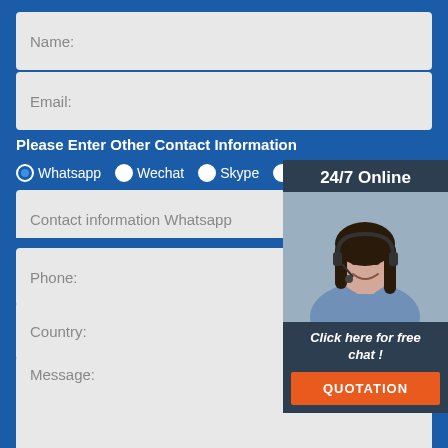Name:
Email:
Please Enter Other Contact Information
Whatsapp
Wechat
Skype
Viber
Contact information Whatsapp
Phone:
Country:
Message:
[Figure (photo): 24/7 Online chat widget with woman wearing headset, Click here for free chat!, QUOTATION button]
[Figure (logo): TOP logo in orange with dot pattern above the letters]